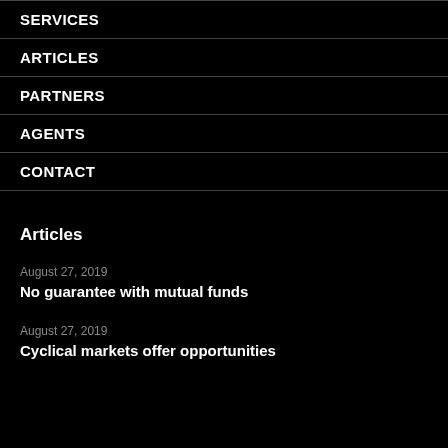SERVICES
ARTICLES
PARTNERS
AGENTS
CONTACT
Articles
August 27, 2019
No guarantee with mutual funds
August 27, 2019
Cyclical markets offer opportunities